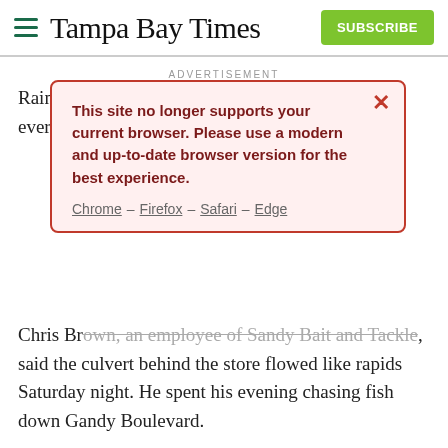Tampa Bay Times — SUBSCRIBE
ADVERTISEMENT
[Figure (screenshot): Browser compatibility warning popup with red border on pink background. Text reads: 'This site no longer supports your current browser. Please use a modern and up-to-date browser version for the best experience.' Links: Chrome – Firefox – Safari – Edge. Red X close button in top-right corner.]
Rain has [obscured] rt for every on[obscured]
Chris Brown, an employee of Sandy Bait and Tackle, said the culvert behind the store flowed like rapids Saturday night. He spent his evening chasing fish down Gandy Boulevard.
"You heard the story of Noah's ark," he said. "There was probably a good 8 feet of water, 10 feet of water in that ditch last night."